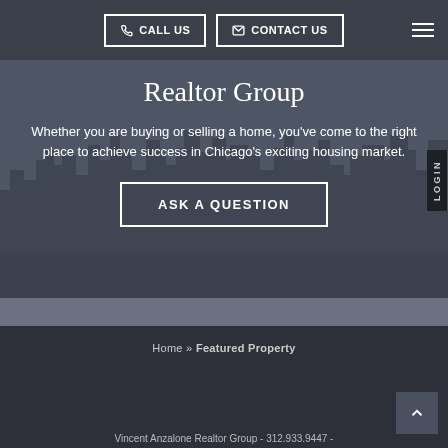CALL US | CONTACT US
Realtor Group
Whether you are buying or selling a home, you've come to the right place to achieve success in Chicago's exciting housing market.
ASK A QUESTION
LOGIN
Home » Featured Property
Vincent Anzalone Realtor Group - 312.933.9447 -